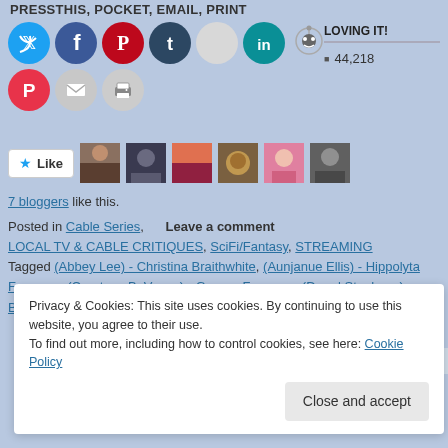PRESSTHIS, POCKET, EMAIL, PRINT
[Figure (infographic): Social sharing icons: Twitter (blue), Facebook (blue), Pinterest (red), Tumblr (dark blue), blank/white circle, LinkedIn (teal), Reddit, Pocket (red), Email (gray), Print (gray)]
LOVING IT!
44,218
[Figure (infographic): Like button with star icon and 6 blogger avatar thumbnails]
7 bloggers like this.
Posted in Cable Series,   Leave a comment
LOCAL TV & CABLE CRITIQUES, SciFi/Fantasy, STREAMING
Tagged (Abbey Lee) - Christina Braithwhite, (Aunjanue Ellis) - Hippolyta Freeman, (Courtney B. Vance) - George Freeman, (Darryl Stephens) - Billie Holiday, (Demetrius Grosse) - Marvin...
Privacy & Cookies: This site uses cookies. By continuing to use this website, you agree to their use.
To find out more, including how to control cookies, see here: Cookie Policy
Close and accept